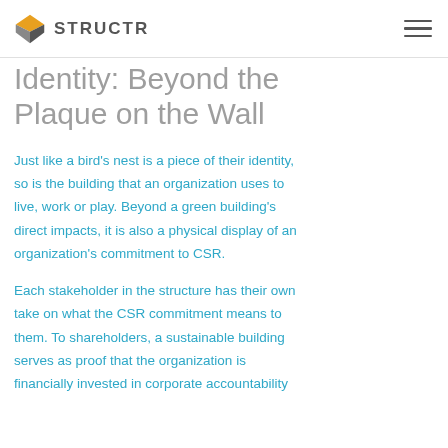STRUCTR
Identity: Beyond the Plaque on the Wall
Just like a bird’s nest is a piece of their identity, so is the building that an organization uses to live, work or play. Beyond a green building’s direct impacts, it is also a physical display of an organization’s commitment to CSR.
Each stakeholder in the structure has their own take on what the CSR commitment means to them. To shareholders, a sustainable building serves as proof that the organization is financially invested in corporate accountability